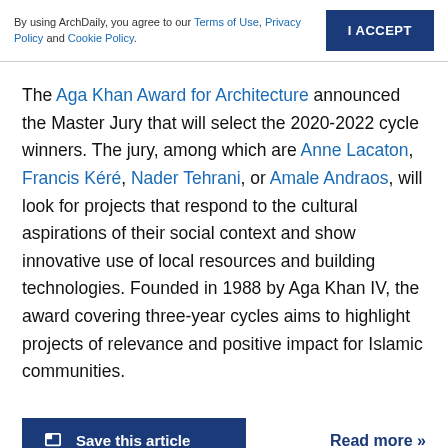By using ArchDaily, you agree to our Terms of Use, Privacy Policy and Cookie Policy.
The Aga Khan Award for Architecture announced the Master Jury that will select the 2020-2022 cycle winners. The jury, among which are Anne Lacaton, Francis Kéré, Nader Tehrani, or Amale Andraos, will look for projects that respond to the cultural aspirations of their social context and show innovative use of local resources and building technologies. Founded in 1988 by Aga Khan IV, the award covering three-year cycles aims to highlight projects of relevance and positive impact for Islamic communities.